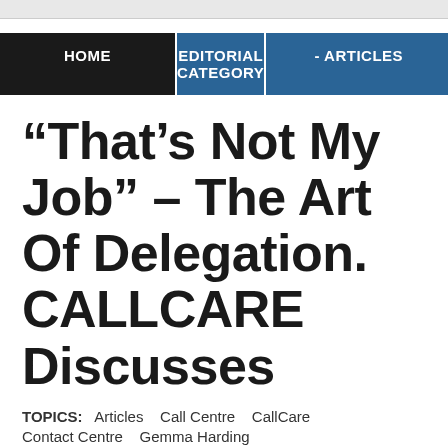HOME   EDITORIAL CATEGORY   - ARTICLES
“That’s Not My Job” – The Art Of Delegation. CALLCARE Discusses
TOPICS:   Articles   Call Centre   CallCare   Contact Centre   Gemma Harding
19 JULY 2017
That’s not my job”: Are job descriptions the be all and end all when delegating?